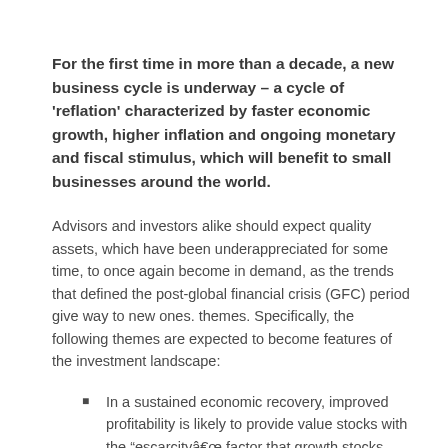For the first time in more than a decade, a new business cycle is underway – a cycle of 'reflation' characterized by faster economic growth, higher inflation and ongoing monetary and fiscal stimulus, which will benefit to small businesses around the world.
Advisors and investors alike should expect quality assets, which have been underappreciated for some time, to once again become in demand, as the trends that defined the post-global financial crisis (GFC) period give way to new ones. themes. Specifically, the following themes are expected to become features of the investment landscape:
In a sustained economic recovery, improved profitability is likely to provide value stocks with the “escarcityâ€ factor that growth stocks previously enjoyed. At the same